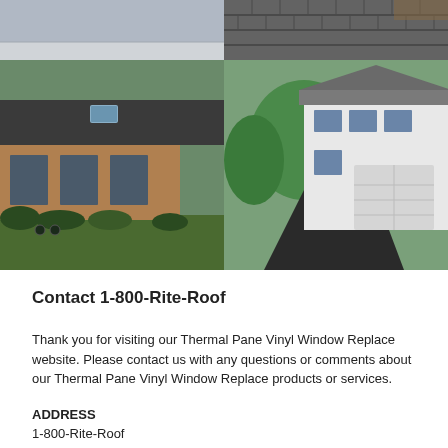[Figure (photo): Grid of four house/roof photos: top-left shows grey sky/siding, top-right shows dark asphalt shingles close-up, bottom-left shows ranch house with dark roof and skylight, bottom-right shows white two-story colonial house with driveway]
Contact 1-800-Rite-Roof
Thank you for visiting our Thermal Pane Vinyl Window Replace website. Please contact us with any questions or comments about our Thermal Pane Vinyl Window Replace products or services.
ADDRESS
1-800-Rite-Roof
200 S Executive Dr Suite 101 Brookfield ,  WI   53005
262-373-3800